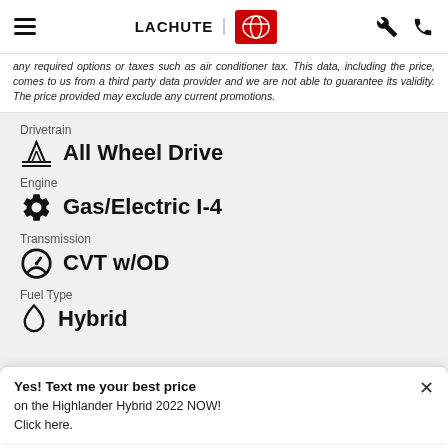LACHUTE TOYOTA
any required options or taxes such as air conditioner tax. This data, including the price, comes to us from a third party data provider and we are not able to guarantee its validity. The price provided may exclude any current promotions.
Drivetrain
All Wheel Drive
Engine
Gas/Electric I-4
Transmission
CVT w/OD
Fuel Type
Hybrid
Yes! Text me your best price on the Highlander Hybrid 2022 NOW! Click here.
Estimated Fuel Economy